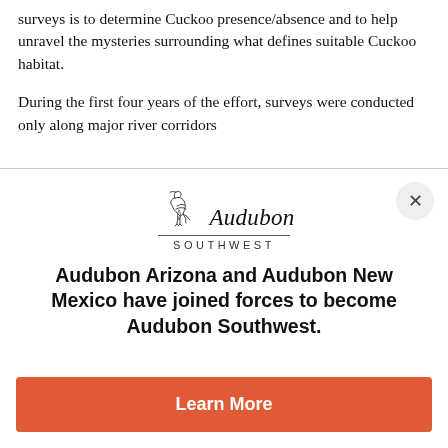surveys is to determine Cuckoo presence/absence and to help unravel the mysteries surrounding what defines suitable Cuckoo habitat.
During the first four years of the effort, surveys were conducted only along major river corridors
[Figure (logo): Audubon Southwest logo with bird sketch above the word Audubon in italic serif, a horizontal line, and SOUTHWEST in spaced sans-serif capitals]
Audubon Arizona and Audubon New Mexico have joined forces to become Audubon Southwest.
Learn More